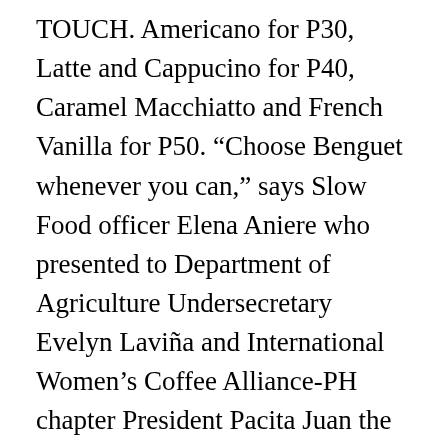TOUCH. Americano for P30, Latte and Cappucino for P40, Caramel Macchiatto and French Vanilla for P50. “Choose Benguet whenever you can,” says Slow Food officer Elena Aniere who presented to Department of Agriculture Undersecretary Evelyn Laviña and International Women’s Coffee Alliance-PH chapter President Pacita Juan the possibilities for Benguet Arabica. Only successfully grown in high-altitude region of Baguio, the weather condition is perfect for the often sensitive Arabica variety. Our coffee beans are directly sourced from the coffee farmers around the Philippines. Arabica is the most popular coffee crop in the Cordillera highlands and Arabica typica is the coffee of choice in Benguet.